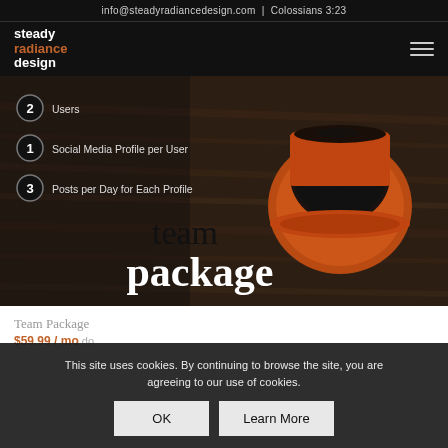info@steadyradiancedesign.com  |  Colossians 3:23
[Figure (logo): Steady Radiance Design logo in white and burnt orange text]
[Figure (photo): Hero image showing a team package promotional graphic with a red/orange coffee cup on a wooden table background. Features numbered bullets: 2 Users, 1 Social Media Profile per User, 3 Posts per Day for Each Profile. Large text overlay reads 'team package'.]
2 Users
1 Social Media Profile per User
3 Posts per Day for Each Profile
Team Package
$59.99 / mo
This site uses cookies. By continuing to browse the site, you are agreeing to our use of cookies.